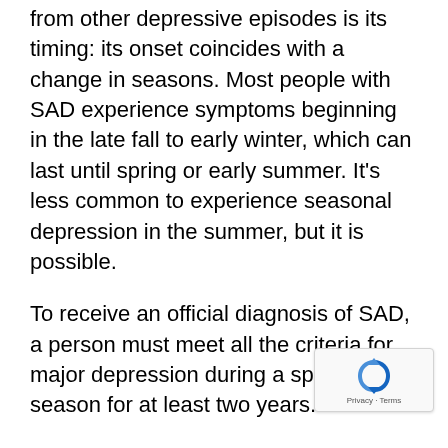from other depressive episodes is its timing: its onset coincides with a change in seasons. Most people with SAD experience symptoms beginning in the late fall to early winter, which can last until spring or early summer. It's less common to experience seasonal depression in the summer, but it is possible.
To receive an official diagnosis of SAD, a person must meet all the criteria for major depression during a specific season for at least two years.
Major depression symptoms include: feeling hopeless or worthless, low energy, losing interest in activities you previously enjoyed, difficulty sleeping, changes in appetite or weight, feeling sluggish or agitated, difficulty concentrating and having frequent thoughts of death or suicide. Seasonal affective disorder symptoms in the winter also include low energy...
[Figure (other): reCAPTCHA widget overlay in bottom-right corner with Privacy and Terms text]